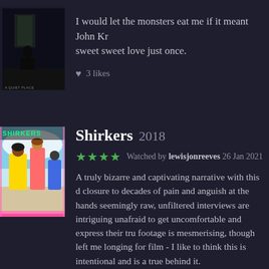I would let the monsters eat me if it meant John Kr sweet sweet love just once.
♥ 3 likes
[Figure (illustration): Shirkers 2018 movie poster with colorful graphic art]
Shirkers 2018
★★★★ Watched by lewisjonreeves 26 Jan 2021
A truly bizarre and captivating narrative with this d closure to decades of pain and anguish at the hands seemingly raw, unfiltered interviews are intriguing unafraid to get uncomfortable and express their tru footage is mesmerising, though left me longing for film - I like to think this is intentional and is a true behind it.
♥ 3 likes